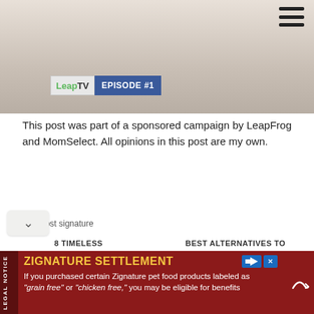[Figure (photo): Top portion of a web page showing a blurred image with a LeapTV Episode #1 badge overlay and a hamburger menu icon in the top right corner]
This post was part of a sponsored campaign by LeapFrog and MomSelect. All opinions in this post are my own.
[Figure (other): Post signature image (broken/placeholder)]
YOU MAY ALSO ENJOY:
8 TIMELESS
BEST ALTERNATIVES TO
[Figure (infographic): Advertisement banner: ZIGNATURE SETTLEMENT - If you purchased certain Zignature pet food products labeled as "grain free" or "chicken free," you may be eligible for benefits]